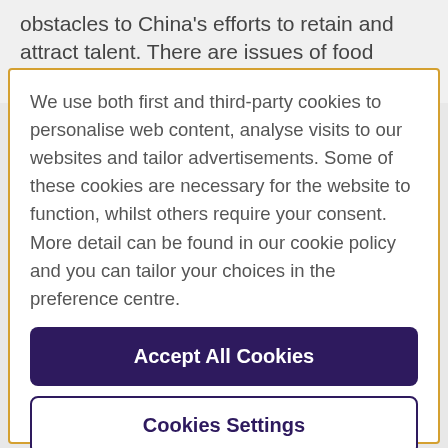obstacles to China's efforts to retain and attract talent. There are issues of food safety and environmental
We use both first and third-party cookies to personalise web content, analyse visits to our websites and tailor advertisements. Some of these cookies are necessary for the website to function, whilst others require your consent. More detail can be found in our cookie policy and you can tailor your choices in the preference centre.
Accept All Cookies
Cookies Settings